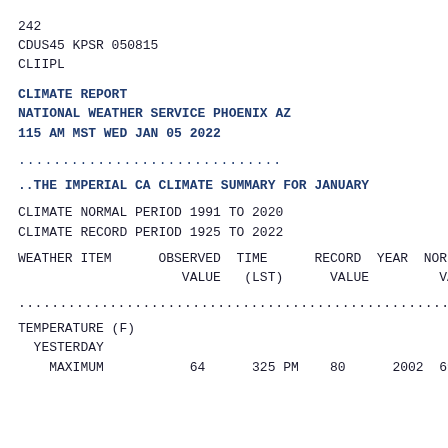242
CDUS45 KPSR 050815
CLIIPL
CLIMATE REPORT
NATIONAL WEATHER SERVICE PHOENIX AZ
115 AM MST WED JAN 05 2022
..............................
..THE IMPERIAL CA CLIMATE SUMMARY FOR JANUARY
CLIMATE NORMAL PERIOD 1991 TO 2020
CLIMATE RECORD PERIOD 1925 TO 2022
| WEATHER ITEM | OBSERVED VALUE | TIME (LST) | RECORD VALUE | YEAR | NOR VAL |
| --- | --- | --- | --- | --- | --- |
..................................................
TEMPERATURE (F)
  YESTERDAY
    MAXIMUM          64       325 PM    80       2002  69